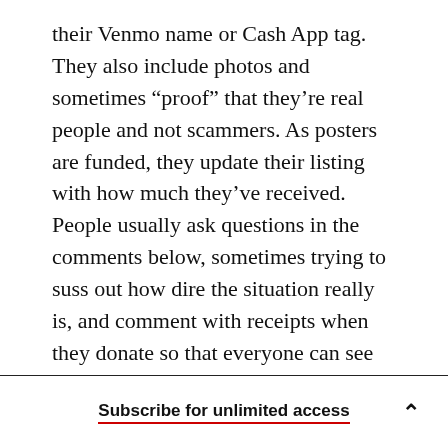their Venmo name or Cash App tag. They also include photos and sometimes “proof” that they’re real people and not scammers. As posters are funded, they update their listing with how much they’ve received. People usually ask questions in the comments below, sometimes trying to suss out how dire the situation really is, and comment with receipts when they donate so that everyone can see how much funding the original posters have received.

People who donate say that they primarily do so because they like helping others. It feels more direct
Subscribe for unlimited access